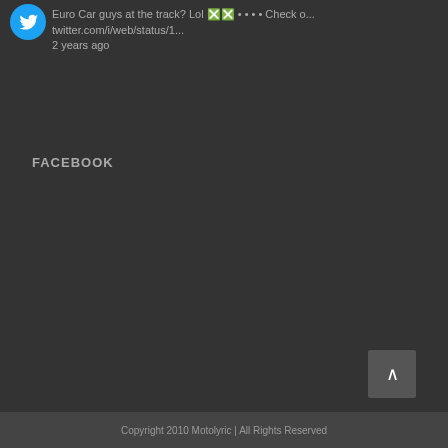Euro Car guys at the track? Lol 🔲🔲 • • • • Check o...
twitter.com/i/web/status/1...
2 years ago
FACEBOOK
Copyright 2010 Motolyric | All Rights Reserved